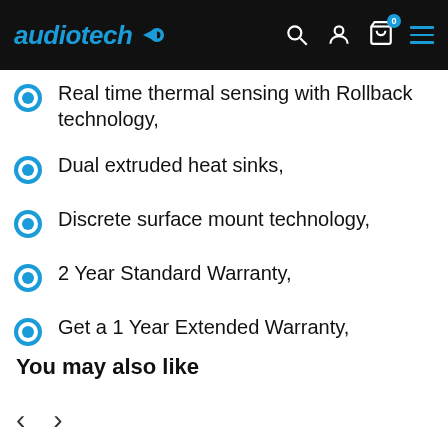audiotech [logo with navigation icons]
Real time thermal sensing with Rollback technology,
Dual extruded heat sinks,
Discrete surface mount technology,
2 Year Standard Warranty,
Get a 1 Year Extended Warranty,
You may also like